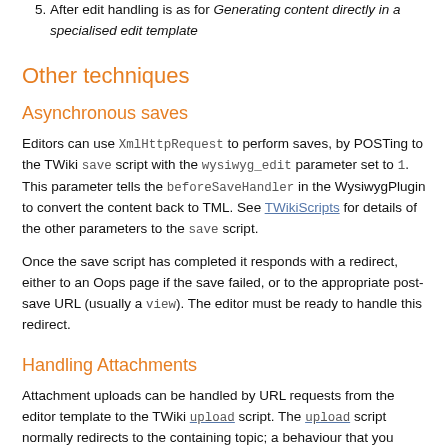5. After edit handling is as for Generating content directly in a specialised edit template
Other techniques
Asynchronous saves
Editors can use XmlHttpRequest to perform saves, by POSTing to the TWiki save script with the wysiwyg_edit parameter set to 1. This parameter tells the beforeSaveHandler in the WysiwygPlugin to convert the content back to TML. See TWikiScripts for details of the other parameters to the save script.
Once the save script has completed it responds with a redirect, either to an Oops page if the save failed, or to the appropriate post-save URL (usually a view). The editor must be ready to handle this redirect.
Handling Attachments
Attachment uploads can be handled by URL requests from the editor template to the TWiki upload script. The upload script normally redirects to the containing topic; a behaviour that you